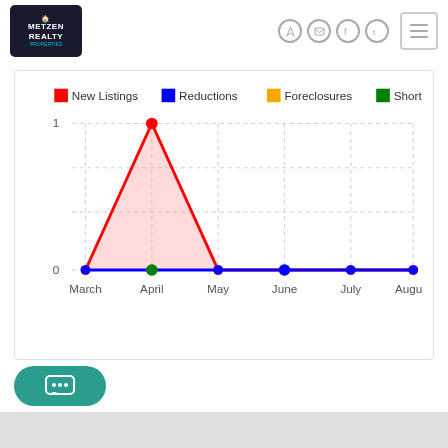[Figure (logo): Metzen Realty logo - dark square with house icon and teal text]
[Figure (area-chart): New Listings, Reductions, Foreclosures, Short Sales]